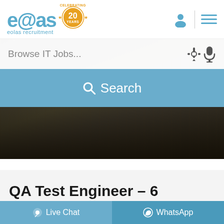[Figure (logo): Eolas Recruitment logo with '20 Years Celebrating' badge in orange, on white header bar with user icon and hamburger menu]
Browse IT Jobs...
Search
[Figure (photo): Blurred cityscape/industrial background behind search bar area]
QA Test Engineer – 6 months – Cork based
Live Chat
WhatsApp